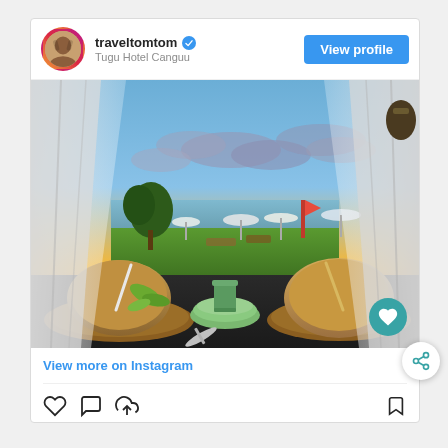[Figure (screenshot): Instagram post card showing user traveltomtom at Tugu Hotel Canguu with a photo of two coconut drinks on a table with a sunset beach view through draped curtains]
traveltomtom
Tugu Hotel Canguu
View profile
[Figure (photo): Sunset beach scene viewed from inside a cabana with white drape curtains, two coconut drinks in wooden bowls on a dark table in the foreground, green lawn, beach umbrellas and ocean in background with orange-yellow sunset sky]
View more on Instagram
[Figure (other): Like, comment, share and bookmark action icons at the bottom of Instagram post]